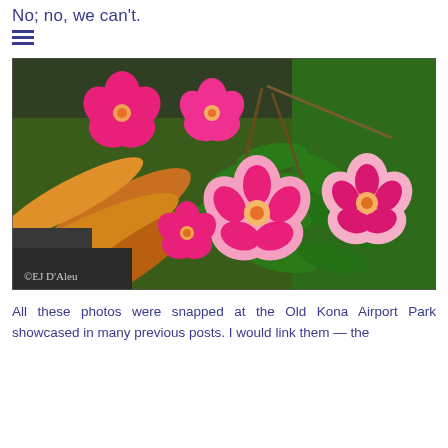No; no, we can't.
[Figure (photo): Vibrant pink tropical flowers (desert roses / Adenium) with dark green leaves, orange-yellow foliage in the background, taken at Old Kona Airport Park. Watermark signature in lower left corner.]
All these photos were snapped at the Old Kona Airport Park showcased in many previous posts. I would link them — the